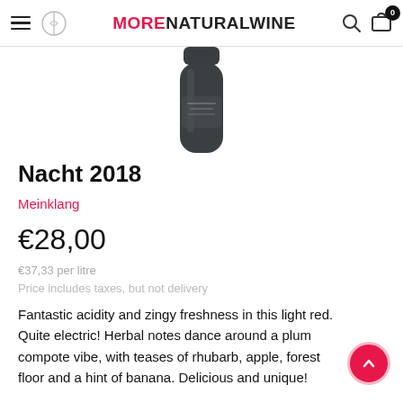MORENATURALWINE
[Figure (photo): Bottom portion of a dark glass wine bottle against white background]
Nacht 2018
Meinklang
€28,00
€37,33 per litre
Price includes taxes, but not delivery
Fantastic acidity and zingy freshness in this light red. Quite electric! Herbal notes dance around a plum compote vibe, with teases of rhubarb, apple, forest floor and a hint of banana. Delicious and unique!